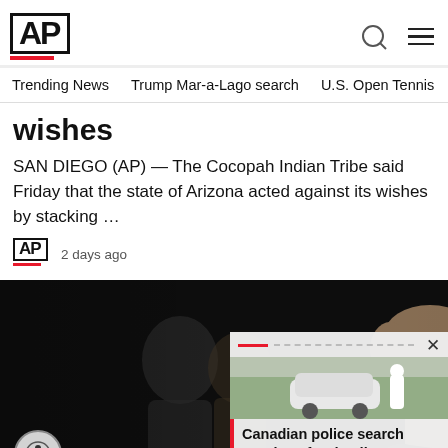AP
Trending News   Trump Mar-a-Lago search   U.S. Open Tennis
wishes
SAN DIEGO (AP) — The Cocopah Indian Tribe said Friday that the state of Arizona acted against its wishes by stacking …
AP  2 days ago
[Figure (photo): Man in suit speaking, partially blurred figure in background, dark background. Overlay card showing Canadian police search province for deadly stabbing s...]